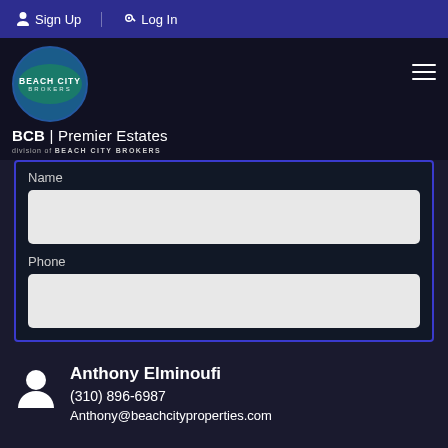Sign Up  Log In
[Figure (logo): Beach City Brokers circular logo with teal oval, BCB Premier Estates division branding]
Name
Phone
Anthony Elminoufi
(310) 896-6987
Anthony@beachcityproperties.com